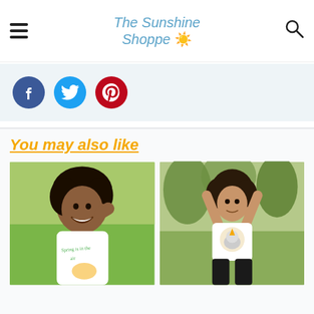The Sunshine Shoppe
[Figure (infographic): Social media sharing buttons: Facebook (dark blue circle with f), Twitter (light blue circle with bird), Pinterest (red circle with P)]
You may also like
[Figure (photo): Smiling Black woman with natural hair touching her ear, wearing a white graphic t-shirt that says 'Spring is in the air' with illustrated animals, outdoors in green grass]
[Figure (photo): Young woman with curly hair doing a yoga pose with arms raised, wearing a white t-shirt with a unicorn graphic and black pants, outdoors with trees in background]